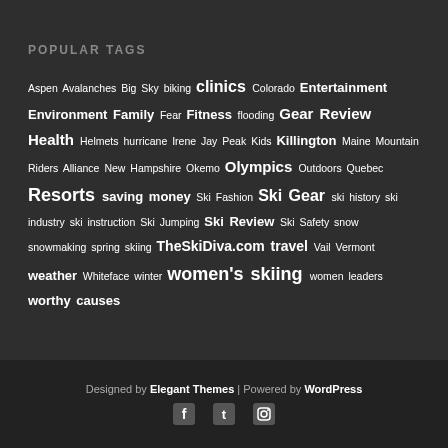POPULAR TAGS
Aspen Avalanches Big Sky biking clinics Colorado Entertainment Environment Family Fear Fitness flooding Gear Review Health Helmets hurricane Irene Jay Peak Kids Killington Maine Mountain Riders Alliance New Hampshire Okemo Olympics Outdoors Quebec Resorts saving money Ski Fashion Ski Gear ski history ski industry ski instruction Ski Jumping Ski Review Ski Safety snow snowmaking spring skiing TheSkiDiva.com travel Vail Vermont weather Whiteface winter women's skiing women leaders worthy causes
Designed by Elegant Themes | Powered by WordPress